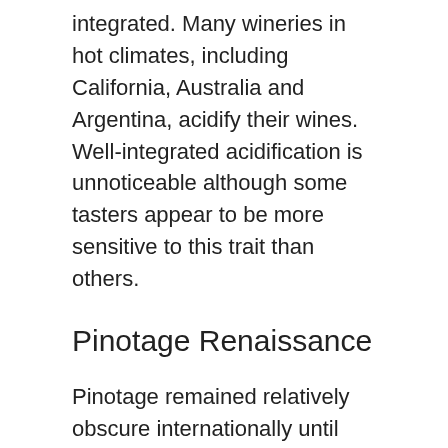integrated. Many wineries in hot climates, including California, Australia and Argentina, acidify their wines. Well-integrated acidification is unnoticeable although some tasters appear to be more sensitive to this trait than others.
Pinotage Renaissance
Pinotage remained relatively obscure internationally until Beyers Truter from Kanonkop won the 1987 Diners Club Wine of the year for his Pinotage. Pinotage has since experienced a renaissance in South Africa, with an increasing number of producers exploring a bright and juicy expression of the variety that shows off the fruit rather than oak, and showing real finesse with less ripe extraction.